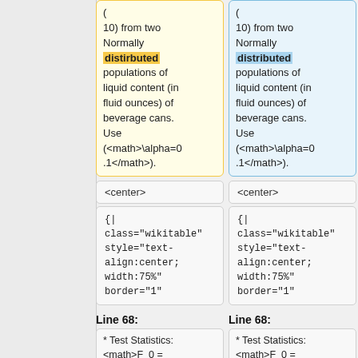( 10) from two Normally distirbuted populations of liquid content (in fluid ounces) of beverage cans. Use (<math>\alpha=0.1</math>).
( 10) from two Normally distributed populations of liquid content (in fluid ounces) of beverage cans. Use (<math>\alpha=0.1</math>).
<center>
<center>
{| class="wikitable" style="text-align:center; width:75%" border="1"
{| class="wikitable" style="text-align:center; width:75%" border="1"
Line 68:
Line 68:
* Test Statistics:
<math>F_0 =
* Test Statistics:
<math>F_0 =